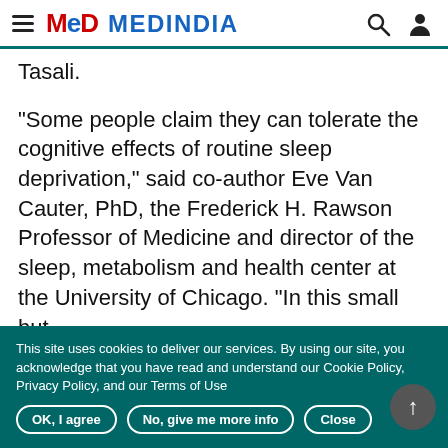MEDINDIA
Tasali.
"Some people claim they can tolerate the cognitive effects of routine sleep deprivation," said co-author Eve Van Cauter, PhD, the Frederick H. Rawson Professor of Medicine and director of the sleep, metabolism and health center at the University of Chicago. "In this small but
This site uses cookies to deliver our services. By using our site, you acknowledge that you have read and understand our Cookie Policy, Privacy Policy, and our Terms of Use
OK, I agree | No, give me more info | Close